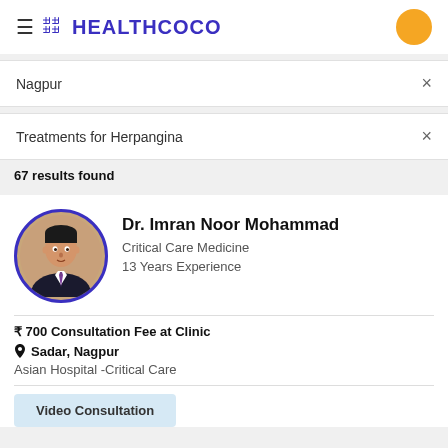HEALTHCOCO
Nagpur
Treatments for Herpangina
67 results found
Dr. Imran Noor Mohammad
Critical Care Medicine
13 Years Experience
₹700 Consultation Fee at Clinic
Sadar, Nagpur
Asian Hospital -Critical Care
Video Consultation